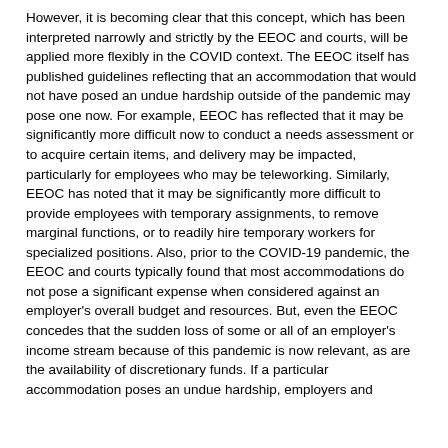However, it is becoming clear that this concept, which has been interpreted narrowly and strictly by the EEOC and courts, will be applied more flexibly in the COVID context. The EEOC itself has published guidelines reflecting that an accommodation that would not have posed an undue hardship outside of the pandemic may pose one now. For example, EEOC has reflected that it may be significantly more difficult now to conduct a needs assessment or to acquire certain items, and delivery may be impacted, particularly for employees who may be teleworking. Similarly, EEOC has noted that it may be significantly more difficult to provide employees with temporary assignments, to remove marginal functions, or to readily hire temporary workers for specialized positions. Also, prior to the COVID-19 pandemic, the EEOC and courts typically found that most accommodations do not pose a significant expense when considered against an employer's overall budget and resources. But, even the EEOC concedes that the sudden loss of some or all of an employer's income stream because of this pandemic is now relevant, as are the availability of discretionary funds. If a particular accommodation poses an undue hardship, employers and